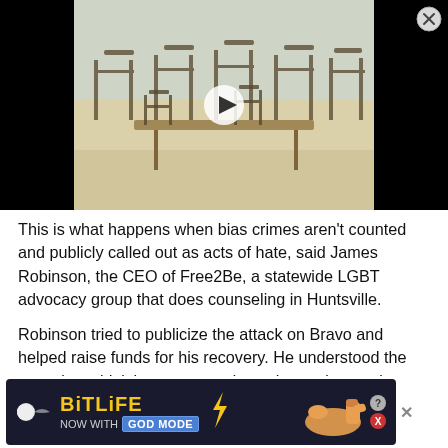[Figure (photo): Video thumbnail showing an empty classroom with stacked chairs and desks, with a play button overlay. Black background surrounds the image. A close (X) button is in the top-right corner.]
This is what happens when bias crimes aren't counted and publicly called out as acts of hate, said James Robinson, the CEO of Free2Be, a statewide LGBT advocacy group that does counseling in Huntsville.
Robinson tried to publicize the attack on Bravo and helped raise funds for his recovery. He understood the assault couldn't be prosecuted as a hate crime under Alabama law, but nonetheless thought the police should acknowledge that anti-gay bias had motivated the attack. Otherwise, how would anyone know the violence was aimed not only at Bravo, but at the larger community to
[Figure (screenshot): Advertisement banner for BitLife game — 'NOW WITH GOD MODE' — featuring yellow lightning bolt logo text, blue badge, and a hand pointing graphic with question mark and X close button.]